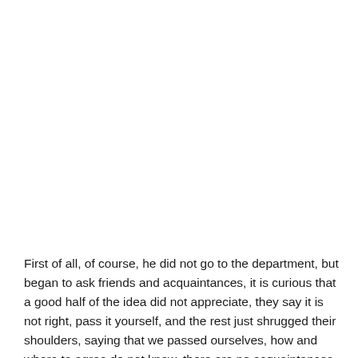First of all, of course, he did not go to the department, but began to ask friends and acquaintances, it is curious that a good half of the idea did not appreciate, they say it is not right, pass it yourself, and the rest just shrugged their shoulders, saying that we passed ourselves, how and where to agree do not know, there are no acquaintances either. BUT still he